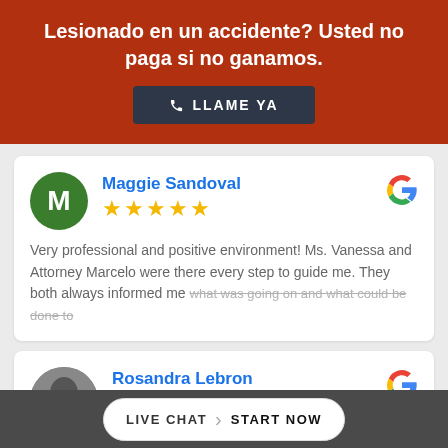Lesionado en un accidente? Usted no paga si no ganamos.
LLAME YA
Maggie Sandoval
★★★★★
Very professional and positive environment! Ms. Vanessa and Attorney Marcelo were there every step to guide me. They both always informed me what was going on and what could be done to
Rosandra Lebron
★★★★★
LIVE CHAT  START NOW